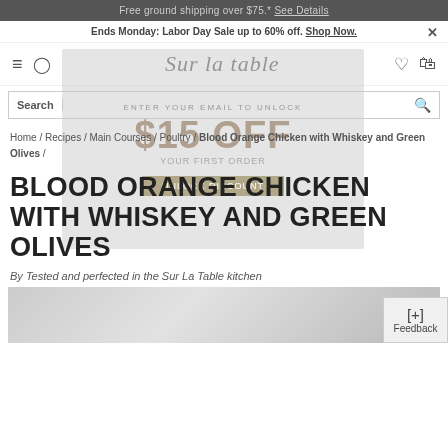Free ground shipping over $75.* See Details
Ends Monday: Labor Day Sale up to 60% off. Shop Now.
[Figure (screenshot): Sur La Table website navigation bar with hamburger menu, profile icon, Sur La Table logo in script font, heart icon, and shopping bag icon]
Search
[Figure (screenshot): Faded email popup overlay showing ENTER YOUR EMAIL TO UNLOCK and $15 OFF promotional offer with a Submit button]
Home / Recipes / Main Courses / Poultry / Blood Orange Chicken with Whiskey and Green Olives /
BLOOD ORANGE CHICKEN WITH WHISKEY AND GREEN OLIVES
By Tested and perfected in the Sur La Table kitchen
[Figure (photo): Partial view of a recipe food photograph showing hands and cookware, partially cut off at bottom of page]
[+] Feedback